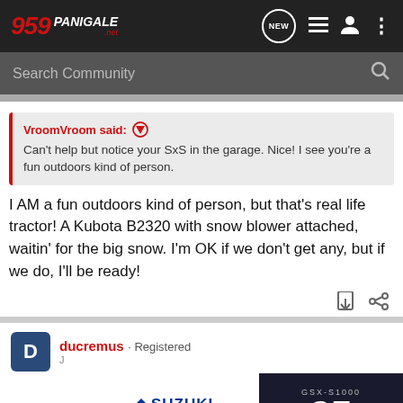959 Panigale .net
Search Community
VroomVroom said: ↑ Can't help but notice your SxS in the garage. Nice! I see you're a fun outdoors kind of person.
I AM a fun outdoors kind of person, but that's real life tractor! A Kubota B2320 with snow blower attached, waitin' for the big snow. I'm OK if we don't get any, but if we do, I'll be ready!
ducremus · Registered
[Figure (screenshot): Suzuki GSX-S1000 GT advertisement banner showing the motorcycle and 'SEE IT NOW' CTA button]
Discu...